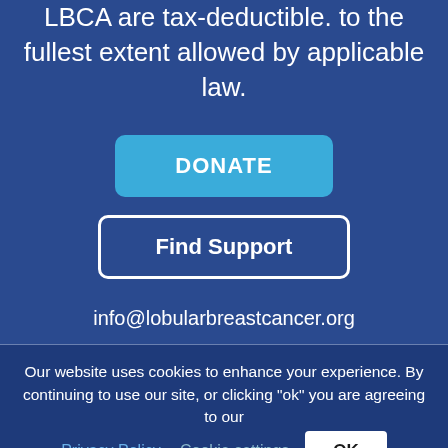LBCA are tax-deductible. to the fullest extent allowed by applicable law.
DONATE
Find Support
info@lobularbreastcancer.org
Our website uses cookies to enhance your experience. By continuing to use our site, or clicking "ok" you are agreeing to our
Privacy Policy.
Cookie settings
OK